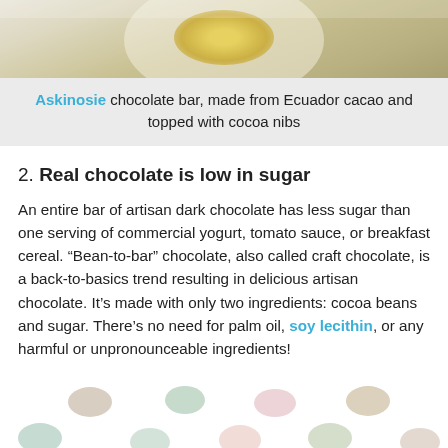[Figure (photo): Top portion of a photo showing a bowl with yellow liquid (honey or oil) on a wooden surface, cropped at the top of the page.]
Askinosie chocolate bar, made from Ecuador cacao and topped with cocoa nibs
2. Real chocolate is low in sugar
An entire bar of artisan dark chocolate has less sugar than one serving of commercial yogurt, tomato sauce, or breakfast cereal. “Bean-to-bar” chocolate, also called craft chocolate, is a back-to-basics trend resulting in delicious artisan chocolate. It’s made with only two ingredients: cocoa beans and sugar. There’s no need for palm oil, soy lecithin, or any harmful or unpronounceable ingredients!
[Figure (illustration): Decorative dots pattern in muted pastel colors (beige, mint green, pink, tan) at the bottom of the page.]